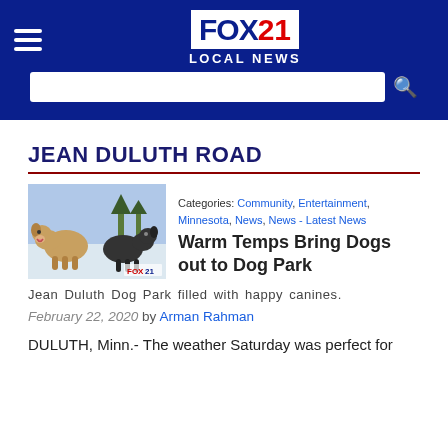[Figure (logo): FOX21 LOCAL NEWS logo on dark blue header background with hamburger menu icon and search bar]
JEAN DULUTH ROAD
[Figure (photo): Two dogs outdoors in a snowy setting at a dog park]
Categories: Community, Entertainment, Minnesota, News, News - Latest News
Warm Temps Bring Dogs out to Dog Park
Jean Duluth Dog Park filled with happy canines.
February 22, 2020 by Arman Rahman
DULUTH, Minn.- The weather Saturday was perfect for